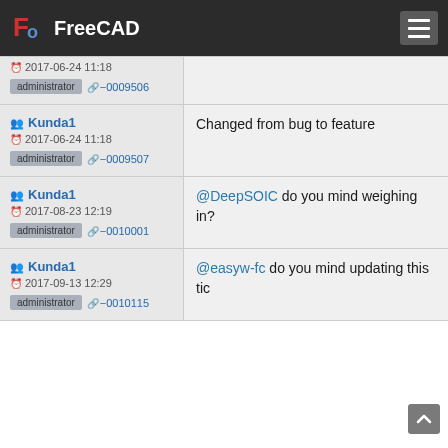FreeCAD
2017-06-24 11:18 | administrator | −0009506
Kunda1 | 2017-06-24 11:18 | administrator | −0009507 | Changed from bug to feature
Kunda1 | 2017-08-23 12:19 | administrator | −0010001 | @DeepSOIC do you mind weighing in?
Kunda1 | 2017-09-13 12:29 | administrator | −0010115 | @easyw-fc do you mind updating this tick